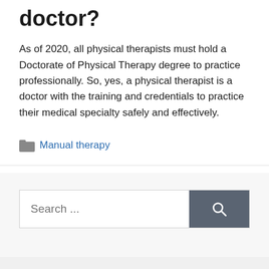doctor?
As of 2020, all physical therapists must hold a Doctorate of Physical Therapy degree to practice professionally. So, yes, a physical therapist is a doctor with the training and credentials to practice their medical specialty safely and effectively.
Manual therapy
Search ...